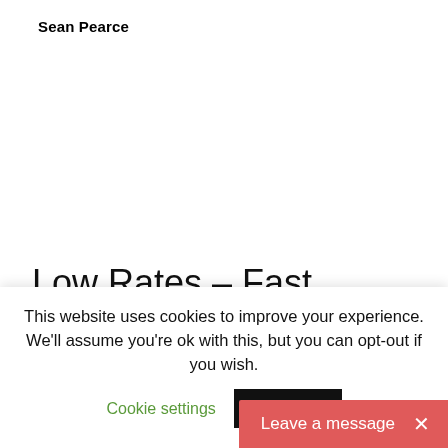Sean Pearce
Low Rates – Fast Reply!
This website uses cookies to improve your experience. We'll assume you're ok with this, but you can opt-out if you wish.
Cookie settings   ACCEPT
Leave a message ×